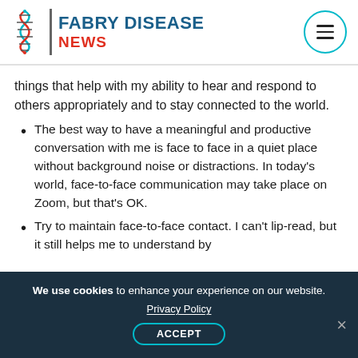FABRY DISEASE NEWS
things that help with my ability to hear and respond to others appropriately and to stay connected to the world.
The best way to have a meaningful and productive conversation with me is face to face in a quiet place without background noise or distractions. In today's world, face-to-face communication may take place on Zoom, but that's OK.
Try to maintain face-to-face contact. I can't lip-read, but it still helps me to understand by
We use cookies to enhance your experience on our website. Privacy Policy ACCEPT